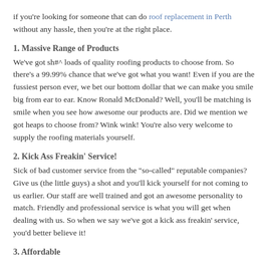if you're looking for someone that can do roof replacement in Perth without any hassle, then you're at the right place.
1. Massive Range of Products
We've got sh#^ loads of quality roofing products to choose from. So there's a 99.99% chance that we've got what you want! Even if you are the fussiest person ever, we bet our bottom dollar that we can make you smile big from ear to ear. Know Ronald McDonald? Well, you'll be matching is smile when you see how awesome our products are. Did we mention we got heaps to choose from? Wink wink! You're also very welcome to supply the roofing materials yourself.
2. Kick Ass Freakin' Service!
Sick of bad customer service from the "so-called" reputable companies? Give us (the little guys) a shot and you'll kick yourself for not coming to us earlier. Our staff are well trained and got an awesome personality to match. Friendly and professional service is what you will get when dealing with us. So when we say we've got a kick ass freakin' service, you'd better believe it!
3. Affordable